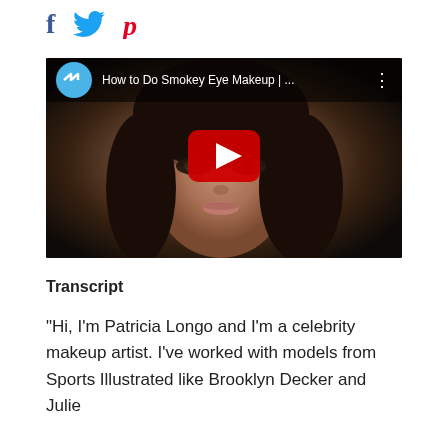[Figure (other): Social media share icons: Facebook (f), Twitter bird, Pinterest (p) in blue, blue, red]
[Figure (screenshot): YouTube video thumbnail showing a woman with smokey eye makeup. Video title reads 'How to Do Smokey Eye Makeup | ...' with a red YouTube play button in the center and a teal double-chevron logo on the left of the title bar.]
Transcript
"Hi, I'm Patricia Longo and I'm a celebrity makeup artist. I've worked with models from Sports Illustrated like Brooklyn Decker and Julie